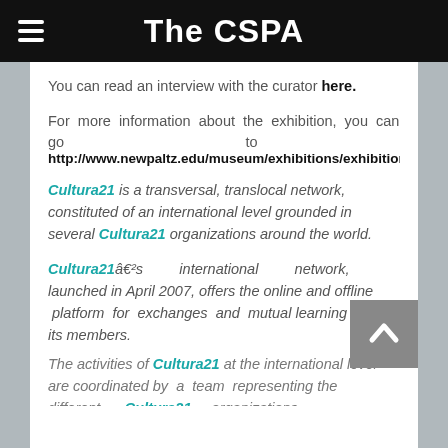The CSPA
You can read an interview with the curator here.
For more information about the exhibition, you can go to http://www.newpaltz.edu/museum/exhibitions/exhibitions_6...
Cultura21 is a transversal, translocal network, constituted of an international level grounded in several Cultura21 organizations around the world.
Cultura21â€²s international network, launched in April 2007, offers the online and offline platform for exchanges and mutual learning among its members.
The activities of Cultura21 at the international level are coordinated by a team representing the different Cultura21 organizations